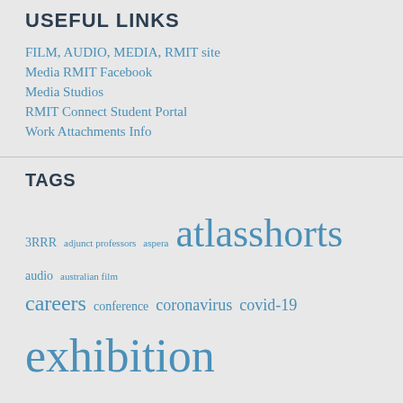USEFUL LINKS
FILM, AUDIO, MEDIA, RMIT site
Media RMIT Facebook
Media Studios
RMIT Connect Student Portal
Work Attachments Info
TAGS
3RRR adjunct professors aspera atlasshorts audio australian film careers conference coronavirus covid-19 exhibition film film festival filmmaking france graduation guest speaker guest speakers industry industry partnerships industry speakers industry talks internships media 6 media industry media studio MINA mobile media